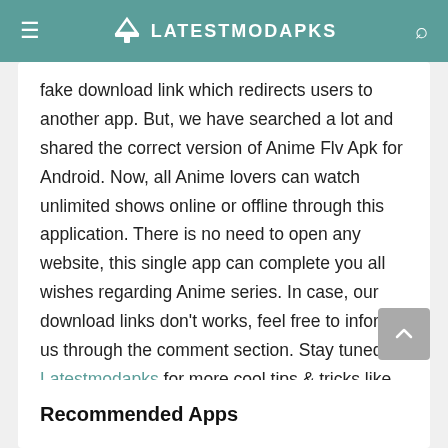LATESTMODAPKS
fake download link which redirects users to another app. But, we have searched a lot and shared the correct version of Anime Flv Apk for Android. Now, all Anime lovers can watch unlimited shows online or offline through this application. There is no need to open any website, this single app can complete you all wishes regarding Anime series. In case, our download links don't works, feel free to inform us through the comment section. Stay tuned at Latestmodapks for more cool tips & tricks like these.
Recommended Apps